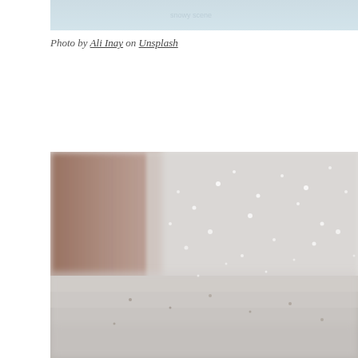[Figure (photo): Top portion of a snowy outdoor photo, partially visible at the top of the page, showing a light blue-gray snowy scene.]
Photo by Ali Inay on Unsplash
[Figure (photo): Close-up photograph of snow blowing and swirling near a brick or stone structure, with snow-covered ground in the foreground. The image has a bokeh/blurred effect with snowflakes visible in the air.]